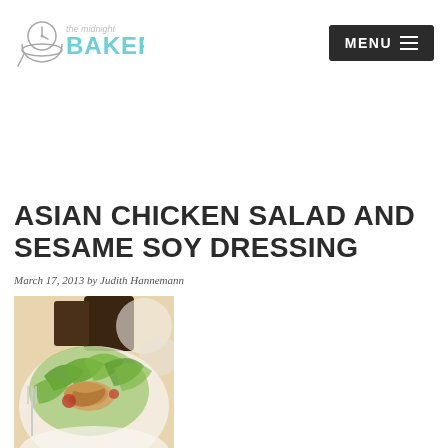[Figure (logo): The Midnight Baker logo with bowl and text]
[Figure (other): MENU hamburger button in dark background]
ASIAN CHICKEN SALAD AND SESAME SOY DRESSING
March 17, 2013 by Judith Hannemann
[Figure (photo): Photo of Asian chicken salad with greens and dressing in a glass jar]